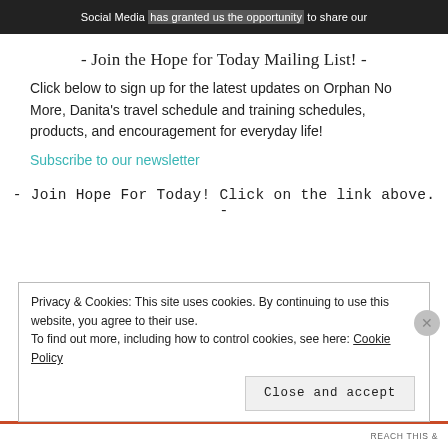[Figure (screenshot): Dark banner at top showing partial text: 'Social Media has granted us the opportunity to share our']
- Join the Hope for Today Mailing List! -
Click below to sign up for the latest updates on Orphan No More, Danita's travel schedule and training schedules, products, and encouragement for everyday life!
Subscribe to our newsletter
- Join Hope For Today! Click on the link above. -
Privacy & Cookies: This site uses cookies. By continuing to use this website, you agree to their use.
To find out more, including how to control cookies, see here: Cookie Policy
Close and accept